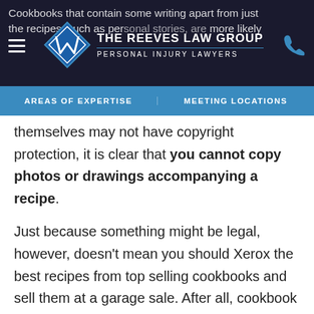Cookbooks that contain some writing apart from just the recipes, such as personal stories, are more likely
[Figure (logo): The Reeves Law Group - Personal Injury Lawyers logo with diamond shape and hamburger menu and phone icon]
AREAS OF EXPERTISE | MEETING LOCATIONS
themselves may not have copyright protection, it is clear that you cannot copy photos or drawings accompanying a recipe.
Just because something might be legal, however, doesn't mean you should Xerox the best recipes from top selling cookbooks and sell them at a garage sale. After all, cookbook publishers will still send out cease and desist letters and the threat of expensive litigation itself is enough to deter most people. If you